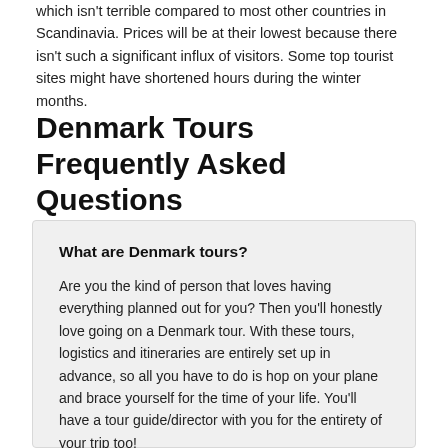which isn't terrible compared to most other countries in Scandinavia. Prices will be at their lowest because there isn't such a significant influx of visitors. Some top tourist sites might have shortened hours during the winter months.
Denmark Tours Frequently Asked Questions
What are Denmark tours?
Are you the kind of person that loves having everything planned out for you? Then you'll honestly love going on a Denmark tour. With these tours, logistics and itineraries are entirely set up in advance, so all you have to do is hop on your plane and brace yourself for the time of your life. You'll have a tour guide/director with you for the entirety of your trip too!